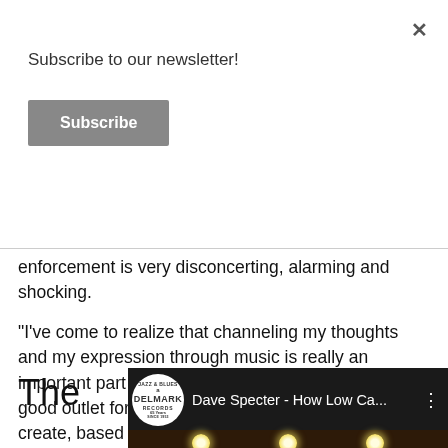Subscribe to our newsletter!
Subscribe
enforcement is very disconcerting, alarming and shocking.
"I've come to realize that channeling my thoughts and my expression through music is really an important part of who I am. And I think it's a really good outlet for me to use my music to write and create, based on, unfortunately, the turmoil and troubles that are happening in this country. The events surrounding George Floyd's death were so shocking to me that the song pretty much wrote itself."
The
[Figure (screenshot): Video thumbnail showing Delmark Records logo and title 'Dave Specter - How Low Ca...' with three-dot menu icon, a red progress bar, and a dark interior scene with stage lights and partial view of musicians.]